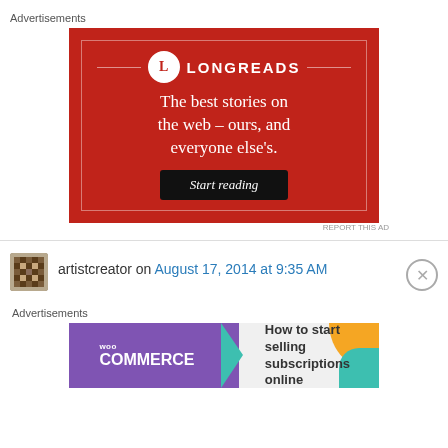Advertisements
[Figure (illustration): Longreads advertisement on red background with logo, tagline 'The best stories on the web – ours, and everyone else's.' and 'Start reading' button]
REPORT THIS AD
artistcreator on August 17, 2014 at 9:35 AM
Advertisements
[Figure (illustration): WooCommerce advertisement: purple background with WooCommerce logo, teal arrow, and text 'How to start selling subscriptions online']